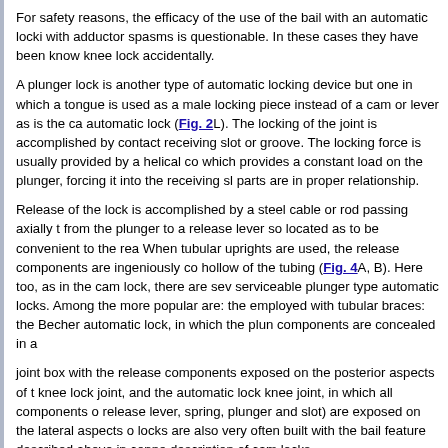For safety reasons, the efficacy of the use of the bail with an automatic locki with adductor spasms is questionable. In these cases they have been know knee lock accidentally.
A plunger lock is another type of automatic locking device but one in which a tongue is used as a male locking piece instead of a cam or lever as is the ca automatic lock (Fig. 2L). The locking of the joint is accomplished by contact receiving slot or groove. The locking force is usually provided by a helical co which provides a constant load on the plunger, forcing it into the receiving sl parts are in proper relationship.
Release of the lock is accomplished by a steel cable or rod passing axially t from the plunger to a release lever so located as to be convenient to the rea When tubular uprights are used, the release components are ingeniously co hollow of the tubing (Fig. 4A, B). Here too, as in the cam lock, there are sev serviceable plunger type automatic locks. Among the more popular are: the employed with tubular braces: the Becher automatic lock, in which the plun components are concealed in a
joint box with the release components exposed on the posterior aspects of t knee lock joint, and the automatic lock knee joint, in which all components o release lever, spring, plunger and slot) are exposed on the lateral aspects o locks are also very often built with the bail feature described above in conne description of cam locks.
A variety of adjustable joints or joints with motion control have been devised contractures and/or brace a leg for supportive purposes when the hip or kne extended (Fig. 2M). Such a joint permits increases in the degree of extensio correction of the flexion deformity is accomplished.